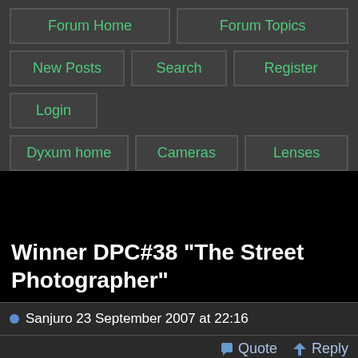Forum Home
Forum Topics
New Posts
Search
Register
Login
Dyxum home
Cameras
Lenses
Winner DPC#38 "The Street Photographer"
Sanjuro 23 September 2007 at 22:16
Quote  Reply
This time the congratulation goes to aldonite